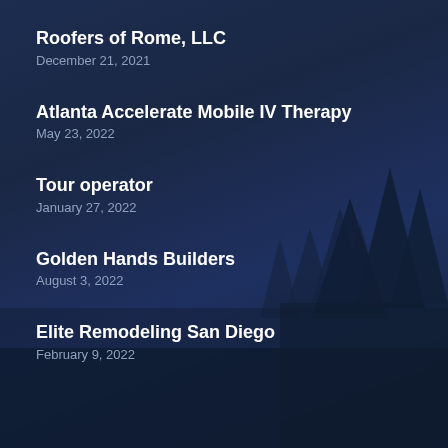Roofers of Rome, LLC
December 21, 2021
Atlanta Accelerate Mobile IV Therapy
May 23, 2022
Tour operator
January 27, 2022
Golden Hands Builders
August 3, 2022
Elite Remodeling San Diego
February 9, 2022